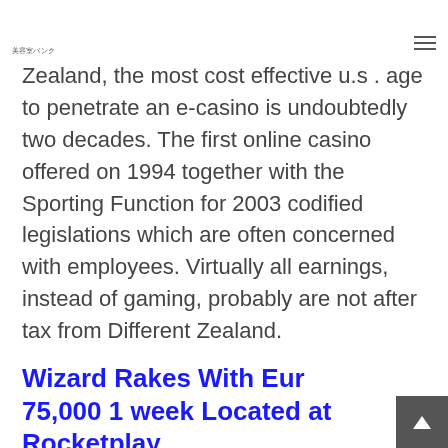美容室バンク
Zealand, the most cost effective u.s . age to penetrate an e-casino is undoubtedly two decades. The first online casino offered on 1994 together with the Sporting Function for 2003 codified legislations which are often concerned with employees. Virtually all earnings, instead of gaming, probably are not after tax from Different Zealand.
Wizard Rakes With Eur 75,000 1 week Located at Rocketplay